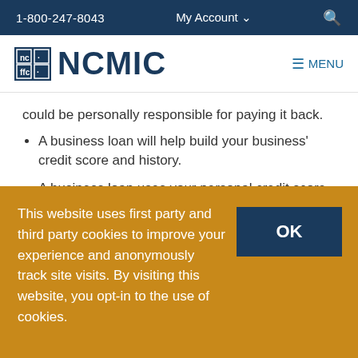1-800-247-8043   My Account   Search
[Figure (logo): NCMIC logo with grid icon and text NCMIC, plus MENU button]
could be personally responsible for paying it back.
A business loan will help build your business' credit score and history.
A business loan uses your personal credit score, but it does not go on your personal credit record.
This website uses first party and third party cookies to improve your experience and anonymously track site visits. By visiting this website, you opt-in to the use of cookies.
OK